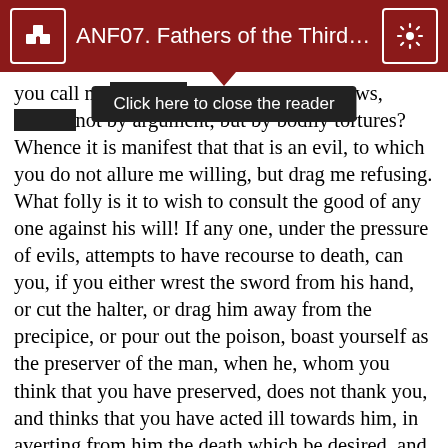ANF07. Fathers of the Third a…
[Figure (screenshot): Tooltip overlay reading 'Click here to close the reader' in dark background]
you call me with evil? why with blows, and not with words? why not by argument, but by bodily tortures? Whence it is manifest that that is an evil, to which you do not allure me willing, but drag me refusing. What folly is it to wish to consult the good of any one against his will! If any one, under the pressure of evils, attempts to have recourse to death, can you, if you either wrest the sword from his hand, or cut the halter, or drag him away from the precipice, or pour out the poison, boast yourself as the preserver of the man, when he, whom you think that you have preserved, does not thank you, and thinks that you have acted ill towards him, in averting from him the death which be desired, and in not permitting him to reach the end and rest from his labours? For a benefit ought not to be weighed according to the quality of the action, but according to the feelings of him who receives it. Why should you reckon as a benefit that which is an injury to me? Do you wish me to worship your gods, which I consider deadly to myself? If it is a good, I do not omit. Enjoy…